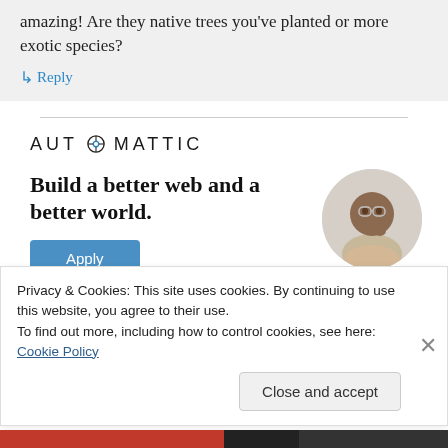amazing! Are they native trees you've planted or more exotic species?
↳ Reply
[Figure (logo): Automattic logo with circular compass/O icon]
Build a better web and a better world.
[Figure (photo): Apply button for Automattic job application]
[Figure (photo): Circular photo of a man thinking, touching beard, wearing glasses]
Privacy & Cookies: This site uses cookies. By continuing to use this website, you agree to their use.
To find out more, including how to control cookies, see here: Cookie Policy
Close and accept